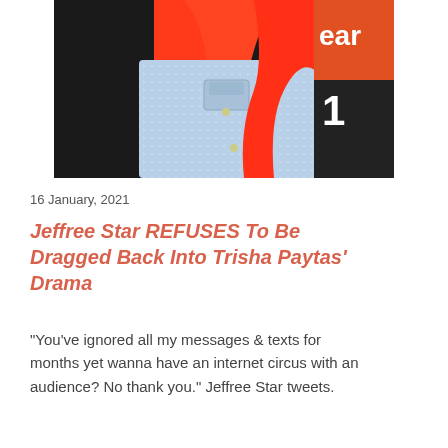[Figure (photo): Person with bright red/orange long hair wearing a sparkly denim jacket, photographed at an event with signage in the background]
16 January, 2021
Jeffree Star REFUSES To Be Dragged Back Into Trisha Paytas' Drama
"You've ignored all my messages & texts for months yet wanna have an internet circus with an audience? No thank you." Jeffree Star tweets.